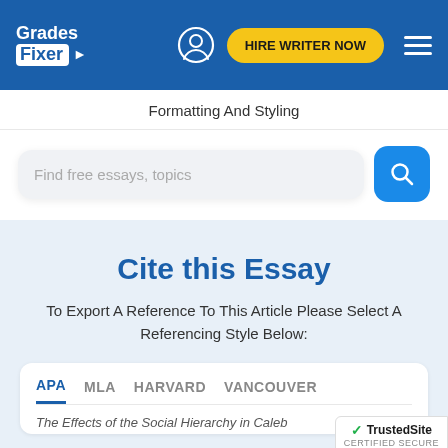Grades Fixer | HIRE WRITER NOW
Formatting And Styling
Find free essays, topics
Cite this Essay
To Export A Reference To This Article Please Select A Referencing Style Below:
APA  MLA  HARVARD  VANCOUVER
The Effects of the Social Hierarchy in Caleb